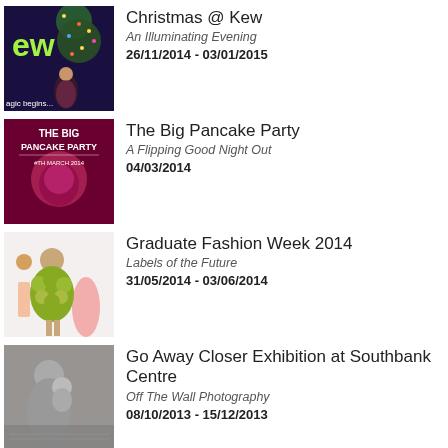[Figure (photo): Christmas at Kew nighttime illuminated garden scene with a person and glowing Christmas tree, text overlay 'magic begins...']
Christmas @ Kew
An Illuminating Evening
26/11/2014 - 03/01/2015
[Figure (photo): The Big Pancake Party promotional image with dark pink/magenta background and text 'THE BIG PANCAKE PARTY 4TH MARCH 2014']
The Big Pancake Party
A Flipping Good Night Out
04/03/2014
[Figure (photo): Graduate Fashion Week 2014 - models on runway wearing green sculptural outfit and pink dress]
Graduate Fashion Week 2014
Labels of the Future
31/05/2014 - 03/06/2014
[Figure (photo): Black and white photograph showing a woman holding a baby, off the wall photography exhibition]
Go Away Closer Exhibition at Southbank Centre
Off The Wall Photography
08/10/2013 - 15/12/2013